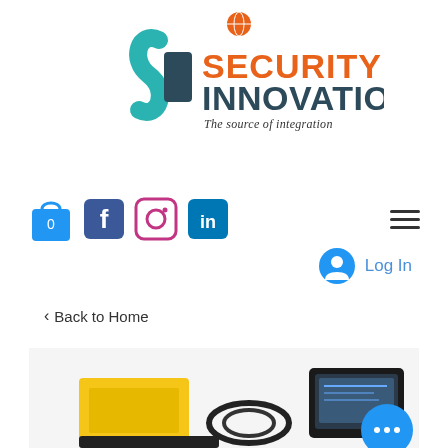[Figure (logo): Security Innovation logo with globe, stylized S letter, orange and teal text reading SECURITY INNOVATION and tagline The source of integration]
[Figure (infographic): Navigation bar with shopping bag icon (0), Facebook, Instagram, LinkedIn icons and hamburger menu]
[Figure (infographic): Log In button with user avatar icon in blue circle]
< Back to Home
[Figure (photo): Product photo showing security/surveillance field kit with yellow case, cables, and laptop in hard case, with blue chat button overlay]